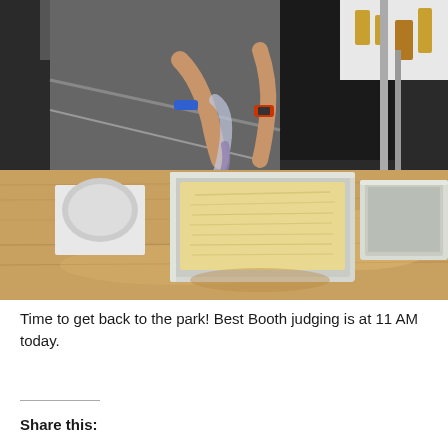[Figure (photo): A person in a black outfit stands behind a wooden table outdoors at what appears to be a festival or competition. They are squeezing contents from a plastic bag into a rectangular aluminum foil pan. Another empty aluminum pan sits to the right. Various items are visible on the table and in the background including metal structures and a white table with items on it.]
Time to get back to the park! Best Booth judging is at 11 AM today.
Share this: